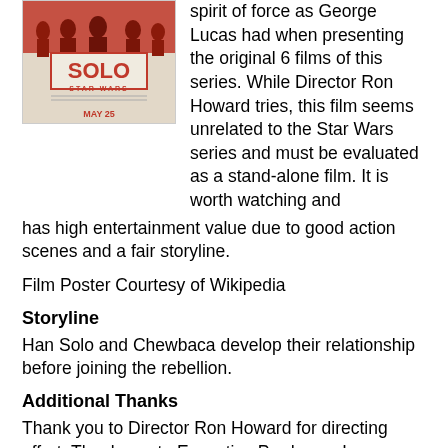[Figure (photo): Solo: A Star Wars Story film poster showing characters in red tones with text 'SOLO STAR WARS MAY 25']
spirit of force as George Lucas had when presenting the original 6 films of this series. While Director Ron Howard tries, this film seems unrelated to the Star Wars series and must be evaluated as a stand-alone film. It is worth watching and has high entertainment value due to good action scenes and a fair storyline.
Film Poster Courtesy of Wikipedia
Storyline
Han Solo and Chewbaca develop their relationship before joining the rebellion.
Additional Thanks
Thank you to Director Ron Howard for directing effort. Thank you to Executive Producers Lawrence Kasdan, Phil Lord, Jason D. McGatlin, and Christopher Miller for making